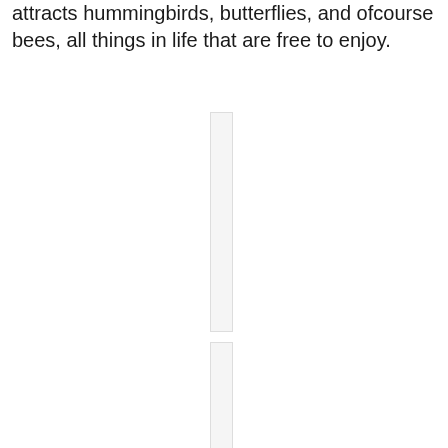attracts hummingbirds, butterflies, and ofcourse bees, all things in life that are free to enjoy.
[Figure (other): Narrow vertical white/light rectangle, possibly a cropped image column divider or partial image, upper position]
[Figure (other): Narrow vertical white/light rectangle, possibly a cropped image column divider or partial image, lower position]